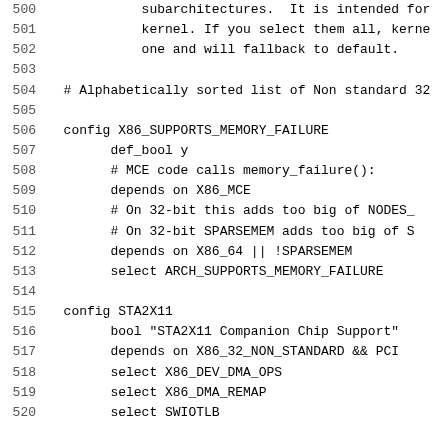Code listing lines 500-520: kernel configuration file (Kconfig) showing X86_SUPPORTS_MEMORY_FAILURE and STA2X11 config entries